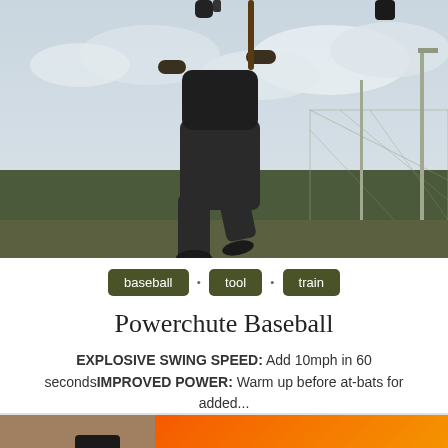[Figure (photo): A baseball player mid-swing outdoors on a field, wearing dark shorts and a dark shirt, with a fence and trees in the background, overcast sky.]
baseball
tool
train
Powerchute Baseball
EXPLOSIVE SWING SPEED: Add 10mph in 60 secondsIMPROVED POWER: Warm up before at-bats for added...
[Figure (photo): Bottom portion showing a person's legs near exercise equipment, and circular speaker-like devices on a dark background, with an orange Amazon banner overlay reading 'Check price on Amazon.com' with a play arrow.]